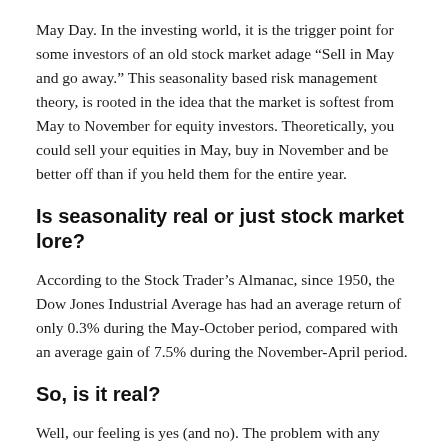May Day. In the investing world, it is the trigger point for some investors of an old stock market adage “Sell in May and go away.” This seasonality based risk management theory, is rooted in the idea that the market is softest from May to November for equity investors. Theoretically, you could sell your equities in May, buy in November and be better off than if you held them for the entire year.
Is seasonality real or just stock market lore?
According to the Stock Trader’s Almanac, since 1950, the Dow Jones Industrial Average has had an average return of only 0.3% during the May-October period, compared with an average gain of 7.5% during the November-April period.
So, is it real?
Well, our feeling is yes (and no). The problem with any hard-and-fast rule for investing is that it does not always work. In